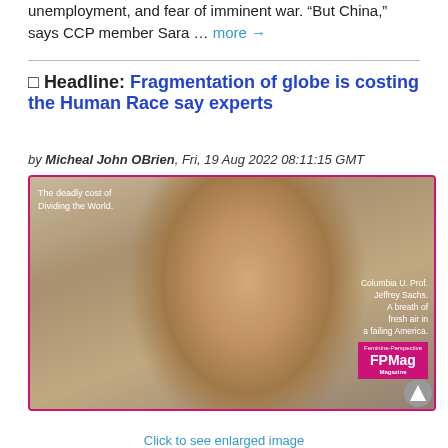unemployment, and fear of imminent war. “But China,” says CCP member Sara … more →
□ Headline: Fragmentation of globe is costing the Human Race say experts
by Micheal John OBrien, Fri, 19 Aug 2022 08:11:15 GMT
[Figure (photo): Photo of Columbia University Professor Jeffrey Sachs with overlaid text: 'The deadly cost of Dividing the World.' and 'Columbia U. Prof. Jeffrey Sachs. A breath of fresh air in a failing America.' with FPMag logo badge in bottom right corner.]
Click to see enlarged image